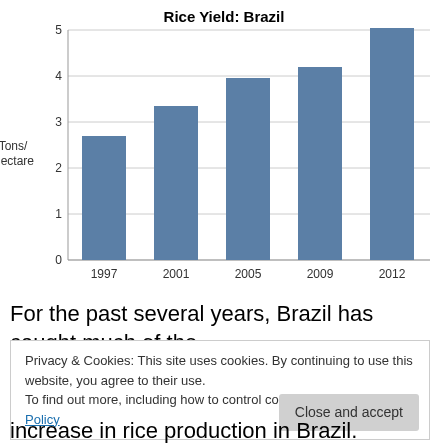[Figure (bar-chart): Rice Yield: Brazil]
For the past several years, Brazil has caught much of the attention of the global rice market. The increase in rice production in Brazil.
Privacy & Cookies: This site uses cookies. By continuing to use this website, you agree to their use. To find out more, including how to control cookies, see here: Cookie Policy